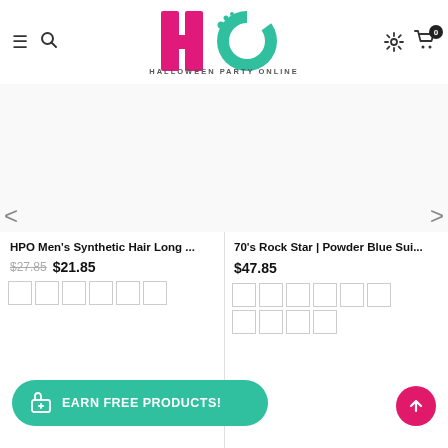[Figure (logo): Halloween Party Online (HPO) logo — large pink H and teal O letters with dotted detail, text HALLOWEEN PARTY ONLINE below]
HPO Men's Synthetic Hair Long ...
$27.85  $21.85
70's Rock Star | Powder Blue Sui...
$47.85
EARN FREE PRODUCTS!